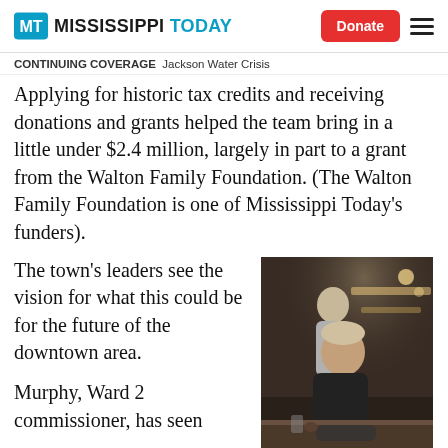Mississippi Today — Donate [button] [menu]
CONTINUING COVERAGE  Jackson Water Crisis
Applying for historic tax credits and receiving donations and grants helped the team bring in a little under $2.4 million, largely in part to a grant from the Walton Family Foundation. (The Walton Family Foundation is one of Mississippi Today's funders).
The town's leaders see the vision for what this could be for the future of the downtown area.
[Figure (photo): Two men sitting/standing at a bar or counter in a dimly lit interior space. One man in dark clothing is in the foreground, another in a light t-shirt stands behind.]
Murphy, Ward 2 commissioner, has seen